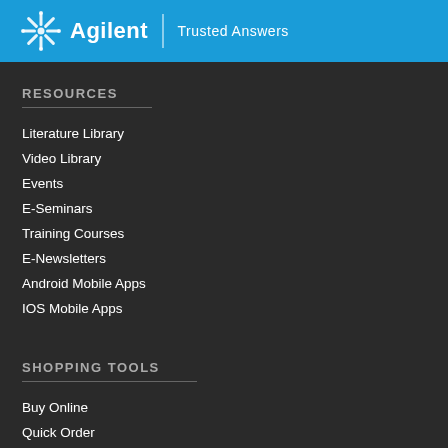Agilent | Trusted Answers
RESOURCES
Literature Library
Video Library
Events
E-Seminars
Training Courses
E-Newsletters
Android Mobile Apps
IOS Mobile Apps
SHOPPING TOOLS
Buy Online
Quick Order
My Account